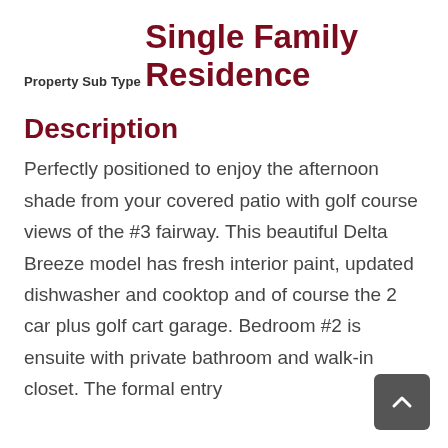Property Sub Type
Single Family Residence
Description
Perfectly positioned to enjoy the afternoon shade from your covered patio with golf course views of the #3 fairway. This beautiful Delta Breeze model has fresh interior paint, updated dishwasher and cooktop and of course the 2 car plus golf cart garage. Bedroom #2 is ensuite with private bathroom and walk-in closet. The formal entry